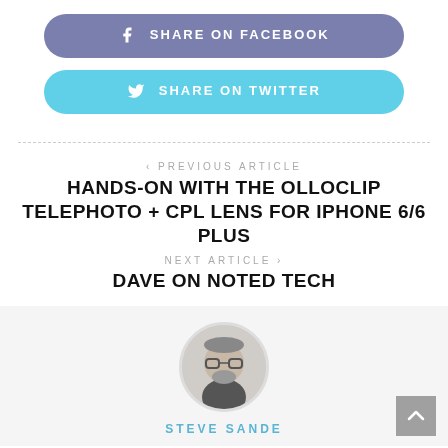[Figure (other): Share on Facebook button - rounded rectangle button with Facebook icon]
[Figure (other): Share on Twitter button - rounded rectangle button with Twitter bird icon]
< PREVIOUS ARTICLE
HANDS-ON WITH THE OLLOCLIP TELEPHOTO + CPL LENS FOR IPHONE 6/6 PLUS
NEXT ARTICLE >
DAVE ON NOTED TECH
[Figure (photo): Circular portrait photo of author Steve Sande - man with glasses and beard]
STEVE SANDE